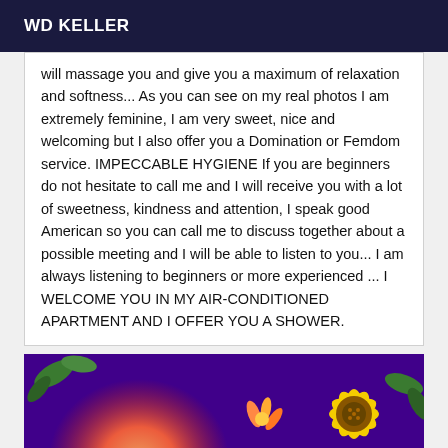WD KELLER
will massage you and give you a maximum of relaxation and softness... As you can see on my real photos I am extremely feminine, I am very sweet, nice and welcoming but I also offer you a Domination or Femdom service. IMPECCABLE HYGIENE If you are beginners do not hesitate to call me and I will receive you with a lot of sweetness, kindness and attention, I speak good American so you can call me to discuss together about a possible meeting and I will be able to listen to you... I am always listening to beginners or more experienced ... I WELCOME YOU IN MY AIR-CONDITIONED APARTMENT AND I OFFER YOU A SHOWER.
[Figure (photo): Colorful abstract or floral image with purple background, orange/pink orb shape on the left and yellow flower on the right with green leaves.]